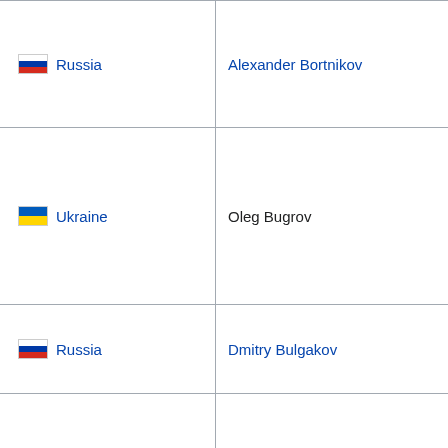| Country | Name |
| --- | --- |
| Russia | Alexander Bortnikov |
| Ukraine | Oleg Bugrov |
| Russia | Dmitry Bulgakov |
| Crimea | Vadim Viktorovich Bulgakov |
| Russia | Andrey Bulyutin |